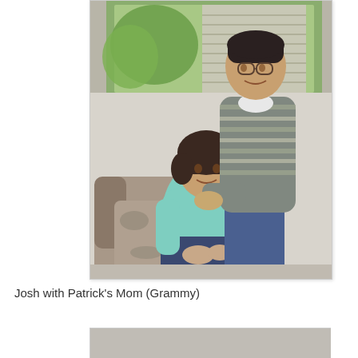[Figure (photo): A tall teenage boy wearing glasses and a gray striped polo shirt stands behind an older woman with short dark hair who is seated in a patterned armchair. The woman wears a light teal/aqua shirt and dark jeans. The boy has his arm around her shoulder. A window with blinds and greenery is visible in the background.]
Josh with Patrick's Mom (Grammy)
[Figure (photo): Partial view of another photo at the bottom of the page, only the very top edge is visible.]